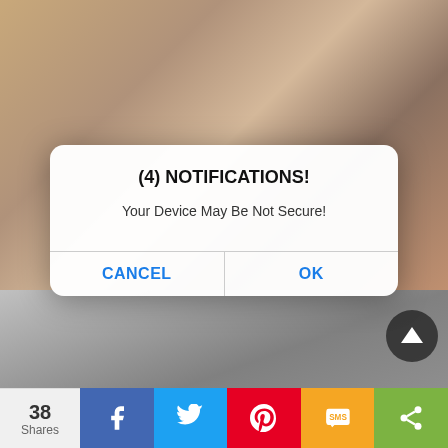[Figure (screenshot): Mobile browser screenshot showing adult content website with a fake security notification dialog overlay. Dialog reads '(4) NOTIFICATIONS!' and 'Your Device May Be Not Secure!' with CANCEL and OK buttons. Below is another video thumbnail. Bottom share bar shows 38 Shares with Facebook, Twitter, Pinterest, SMS, and share buttons.]
(4) NOTIFICATIONS!
Your Device May Be Not Secure!
CANCEL
OK
38 Shares